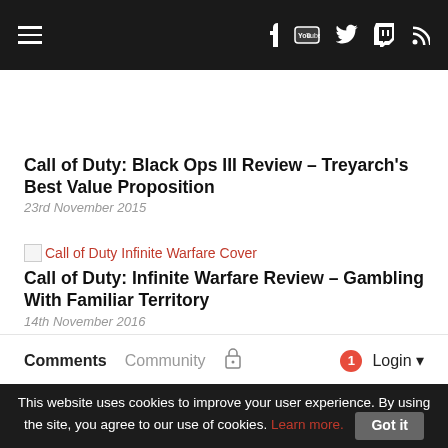Navigation header with hamburger menu and social icons (Facebook, YouTube, Twitter, Twitch, RSS)
Call of Duty: Black Ops III Review – Treyarch's Best Value Proposition
23rd November 2015
[Figure (illustration): Broken image placeholder for Call of Duty Infinite Warfare Cover]
Call of Duty: Infinite Warfare Review – Gambling With Familiar Territory
14th November 2016
Comments   Community   [lock icon]   [notification badge: 1]   Login
This website uses cookies to improve your user experience. By using the site, you agree to our use of cookies. Learn more.   Got it